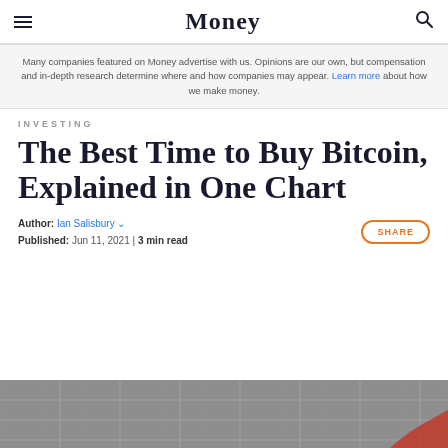Money
Many companies featured on Money advertise with us. Opinions are our own, but compensation and in-depth research determine where and how companies may appear. Learn more about how we make money.
INVESTING
The Best Time to Buy Bitcoin, Explained in One Chart
Author: Ian Salisbury ∨
Published: Jun 11, 2021 | 3 min read
[Figure (photo): Dark gray gridded background image, partially visible at the bottom of the page, with a hint of a red/orange colored chart element at the bottom right corner.]